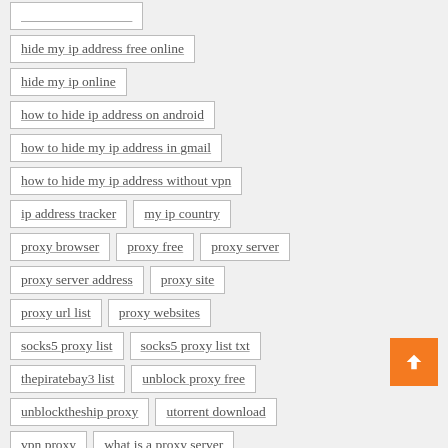hide my ip address free online
hide my ip online
how to hide ip address on android
how to hide my ip address in gmail
how to hide my ip address without vpn
ip address tracker
my ip country
proxy browser
proxy free
proxy server
proxy server address
proxy site
proxy url list
proxy websites
socks5 proxy list
socks5 proxy list txt
thepiratebay3 list
unblock proxy free
unblocktheship proxy
utorrent download
vpn proxy
what is a proxy server